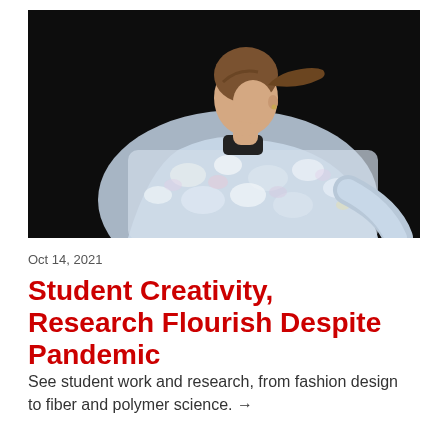[Figure (photo): Young woman with brown hair pulled back, wearing a patterned blue-white floral jacket, posed with hand on hip against a dark/black background, shown from behind/side profile.]
Oct 14, 2021
Student Creativity, Research Flourish Despite Pandemic
See student work and research, from fashion design to fiber and polymer science. →